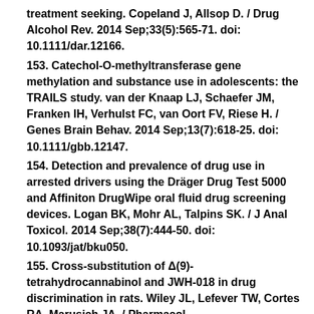treatment seeking. Copeland J, Allsop D. / Drug Alcohol Rev. 2014 Sep;33(5):565-71. doi: 10.1111/dar.12166.
153. Catechol-O-methyltransferase gene methylation and substance use in adolescents: the TRAILS study. van der Knaap LJ, Schaefer JM, Franken IH, Verhulst FC, van Oort FV, Riese H. / Genes Brain Behav. 2014 Sep;13(7):618-25. doi: 10.1111/gbb.12147.
154. Detection and prevalence of drug use in arrested drivers using the Dräger Drug Test 5000 and Affiniton DrugWipe oral fluid drug screening devices. Logan BK, Mohr AL, Talpins SK. / J Anal Toxicol. 2014 Sep;38(7):444-50. doi: 10.1093/jat/bku050.
155. Cross-substitution of Δ(9)-tetrahydrocannabinol and JWH-018 in drug discrimination in rats. Wiley JL, Lefever TW, Cortes RA, Marusich JA. / Pharmacol